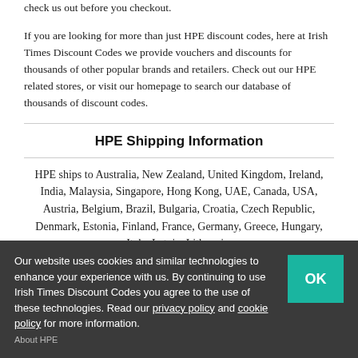check us out before you checkout.
If you are looking for more than just HPE discount codes, here at Irish Times Discount Codes we provide vouchers and discounts for thousands of other popular brands and retailers. Check out our HPE related stores, or visit our homepage to search our database of thousands of discount codes.
HPE Shipping Information
HPE ships to Australia, New Zealand, United Kingdom, Ireland, India, Malaysia, Singapore, Hong Kong, UAE, Canada, USA, Austria, Belgium, Brazil, Bulgaria, Croatia, Czech Republic, Denmark, Estonia, Finland, France, Germany, Greece, Hungary, Italy, Latvia, Lithuania,
Our website uses cookies and similar technologies to enhance your experience with us. By continuing to use Irish Times Discount Codes you agree to the use of these technologies. Read our privacy policy and cookie policy for more information.